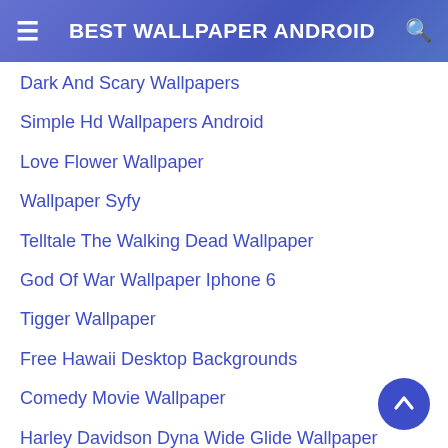BEST WALLPAPER ANDROID
Dark And Scary Wallpapers
Simple Hd Wallpapers Android
Love Flower Wallpaper
Wallpaper Syfy
Telltale The Walking Dead Wallpaper
God Of War Wallpaper Iphone 6
Tigger Wallpaper
Free Hawaii Desktop Backgrounds
Comedy Movie Wallpaper
Harley Davidson Dyna Wide Glide Wallpaper
Pastel Blue Iphone Wallpaper
Galaxy Wallpaper Anime
Iphone X Wallpaper Gray
Norse Mythology 4k Wallpaper
Arowana Fish Wallpaper Download